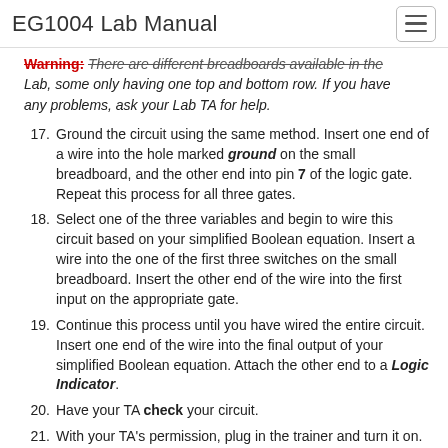EG1004 Lab Manual
Warning: There are different breadboards available in the Lab, some only having one top and bottom row. If you have any problems, ask your Lab TA for help.
17. Ground the circuit using the same method. Insert one end of a wire into the hole marked ground on the small breadboard, and the other end into pin 7 of the logic gate. Repeat this process for all three gates.
18. Select one of the three variables and begin to wire this circuit based on your simplified Boolean equation. Insert a wire into the one of the first three switches on the small breadboard. Insert the other end of the wire into the first input on the appropriate gate.
19. Continue this process until you have wired the entire circuit. Insert one end of the wire into the final output of your simplified Boolean equation. Attach the other end to a Logic Indicator.
20. Have your TA check your circuit.
21. With your TA’s permission, plug in the trainer and turn it on. Using your original truth table, throw each switch in combination with the other switches to simulate all the